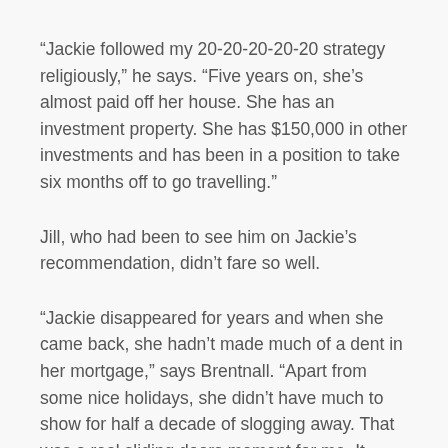“Jackie followed my 20-20-20-20-20 strategy religiously,” he says. “Five years on, she’s almost paid off her house. She has an investment property. She has $150,000 in other investments and has been in a position to take six months off to go travelling.”
Jill, who had been to see him on Jackie’s recommendation, didn’t fare so well.
“Jackie disappeared for years and when she came back, she hadn’t made much of a dent in her mortgage,” says Brentnall. “Apart from some nice holidays, she didn’t have much to show for half a decade of slogging away. That was a real sliding doors moment for me. It illustrated the consequences of being smart about leveraging a rising income as opposed to mindlessly succumbing to lifestyle creep.”